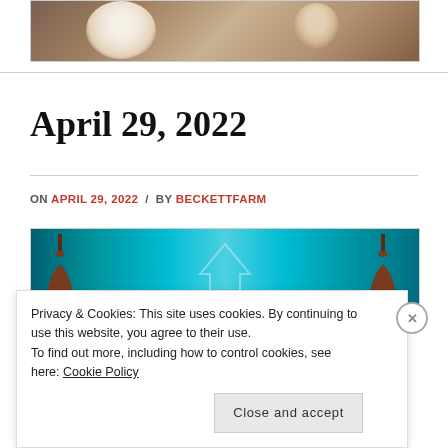[Figure (photo): Partial view of flowers (white daisies) on a wooden surface background]
April 29, 2022
ON APRIL 29, 2022 / BY BECKETTFARM
[Figure (photo): Teal/turquoise background with dark domed structures on sides and a faint triangular symbol in center]
Privacy & Cookies: This site uses cookies. By continuing to use this website, you agree to their use.
To find out more, including how to control cookies, see here: Cookie Policy
Close and accept